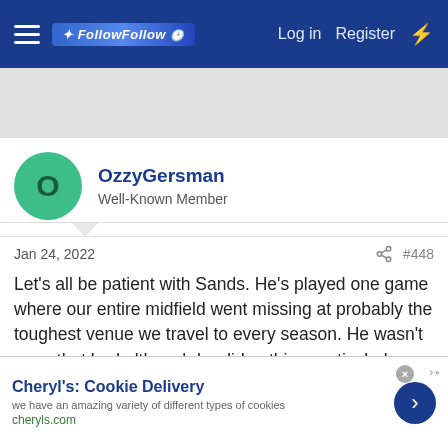FollowFollow — Log in  Register
[Figure (other): Gray advertisement banner area]
OzzyGersman
Well-Known Member
Jan 24, 2022  #448
Let's all be patient with Sands. He's played one game where our entire midfield went missing at probably the toughest venue we travel to every season. He wasn't even that bad although he did nothing particularly impressive.

Remember also he is on a loan deal with no obligation to buy. It's a great deal for a player who comes highly rated. Impossible
[Figure (other): Ad banner: Cheryl's Cookie Delivery — we have an amazing variety of different types of cookies — cheryls.com]